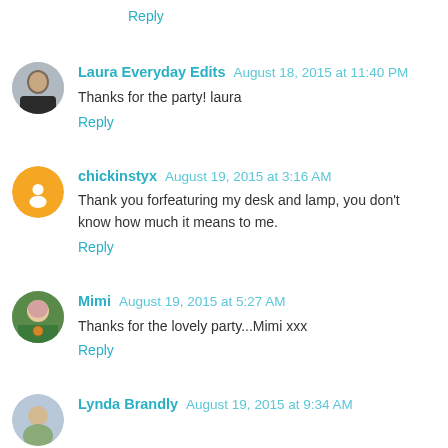Reply
Laura Everyday Edits  August 18, 2015 at 11:40 PM
Thanks for the party! laura
Reply
chickinstyx  August 19, 2015 at 3:16 AM
Thank you forfeaturing my desk and lamp, you don't know how much it means to me.
Reply
Mimi  August 19, 2015 at 5:27 AM
Thanks for the lovely party...Mimi xxx
Reply
Lynda Brandly  August 19, 2015 at 9:34 AM